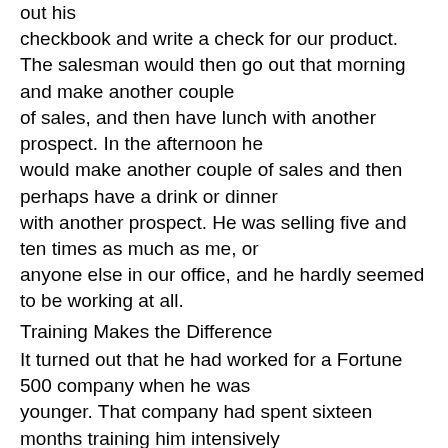out his checkbook and write a check for our product. The salesman would then go out that morning and make another couple of sales, and then have lunch with another prospect. In the afternoon he would make another couple of sales and then perhaps have a drink or dinner with another prospect. He was selling five and ten times as much as me, or anyone else in our office, and he hardly seemed to be working at all.
Training Makes the Difference
It turned out that he had worked for a Fortune 500 company when he was younger. That company had spent sixteen months training him intensively in the process of professional selling. With those skills he could then go to